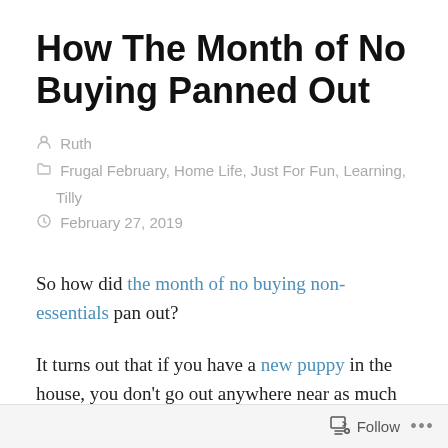How The Month of No Buying Panned Out
Ruth
Frugal February, Home Life, Just For Fun, Learning, Tilly
February 27, 2019
So how did the month of no buying non-essentials pan out?
It turns out that if you have a new puppy in the house, you don't go out anywhere near as much as you might ordinarily do. You don't give into temptation when
Follow ...